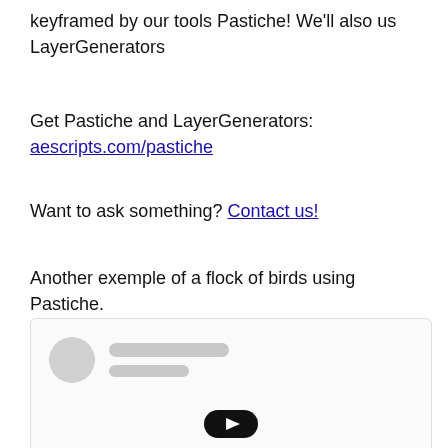keyframed by our tools Pastiche! We'll also us LayerGenerators
Get Pastiche and LayerGenerators: aescripts.com/pastiche
Want to ask something? Contact us!
Another exemple of a flock of birds using Pastiche.
[Figure (screenshot): A loading/skeleton preview card with a circular avatar placeholder, two grey placeholder lines, and a play button icon at the bottom center.]